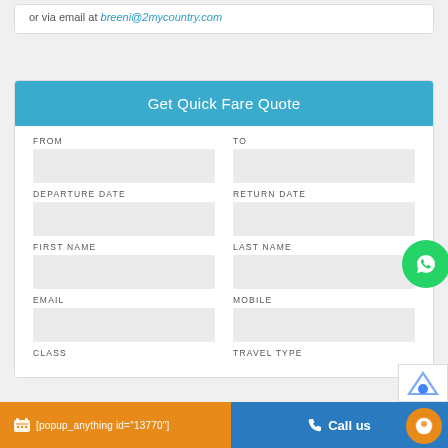or via email at breeni@2mycountry.com
Get Quick Fare Quote
FROM
TO
DEPARTURE DATE
RETURN DATE
FIRST NAME
LAST NAME
EMAIL
MOBILE
CLASS
TRAVEL TYPE
[popup_anything id="13770"]
Call us